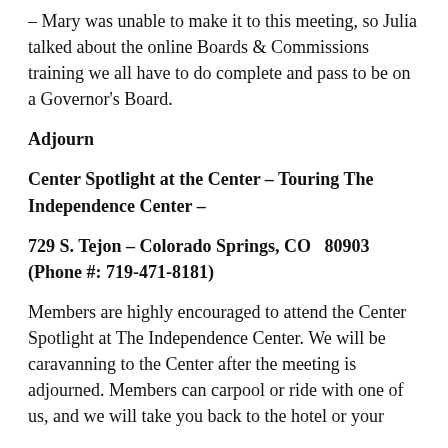– Mary was unable to make it to this meeting, so Julia talked about the online Boards & Commissions training we all have to do complete and pass to be on a Governor's Board.
Adjourn
Center Spotlight at the Center – Touring The Independence Center –
729 S. Tejon – Colorado Springs, CO   80903 (Phone #: 719-471-8181)
Members are highly encouraged to attend the Center Spotlight at The Independence Center. We will be caravanning to the Center after the meeting is adjourned. Members can carpool or ride with one of us, and we will take you back to the hotel or your...